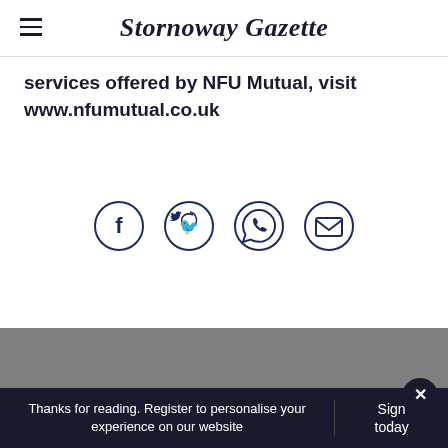Stornoway Gazette
services offered by NFU Mutual, visit www.nfumutual.co.uk
[Figure (other): Four social sharing icon buttons in circles: Facebook, Twitter, WhatsApp/phone, Email]
Thanks for reading. Register to personalise your experience on our website
Sign in today